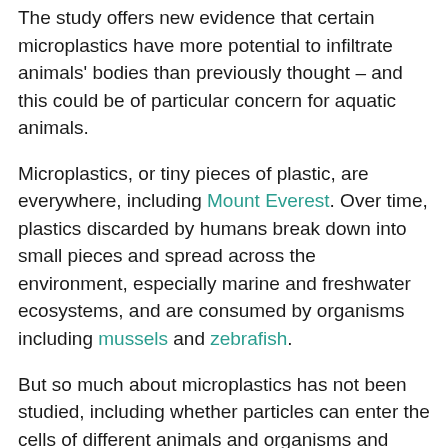The study offers new evidence that certain microplastics have more potential to infiltrate animals' bodies than previously thought – and this could be of particular concern for aquatic animals.
Microplastics, or tiny pieces of plastic, are everywhere, including Mount Everest. Over time, plastics discarded by humans break down into small pieces and spread across the environment, especially marine and freshwater ecosystems, and are consumed by organisms including mussels and zebrafish.
But so much about microplastics has not been studied, including whether particles can enter the cells of different animals and organisms and cause health risks, or affect the environment.